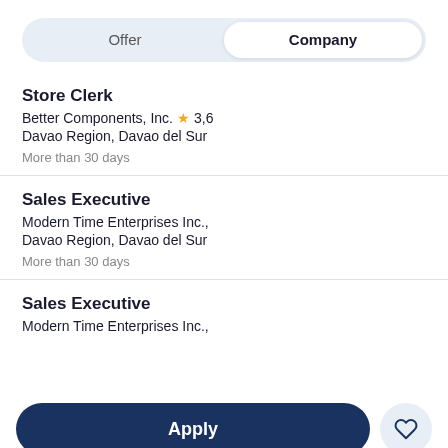Offer | Company
Store Clerk
Better Components, Inc. ★ 3,6
Davao Region, Davao del Sur
More than 30 days
Sales Executive
Modern Time Enterprises Inc.,
Davao Region, Davao del Sur
More than 30 days
Sales Executive
Modern Time Enterprises Inc.,
Apply